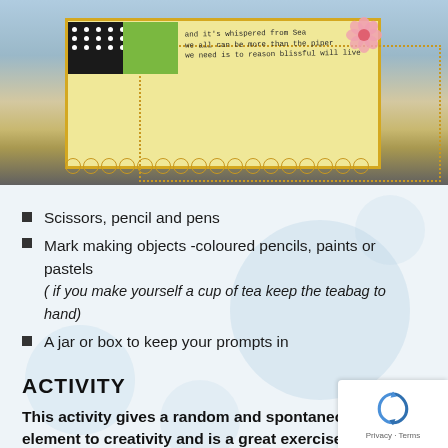[Figure (photo): Photograph of a decorated art journal page with a wooden frame background. The journal has a yellow/cream inner frame with dotted border, a black polka-dot section, a green section, handwritten text, a pink flower decoration, and a row of circular decorations at the bottom.]
Scissors, pencil and pens
Mark making objects -coloured pencils, paints or pastels
( if you make yourself a cup of tea keep the teabag to hand)
A jar or box to keep your prompts in
ACTIVITY
This activity gives a random and spontaneous element to creativity and is a great exercise if you